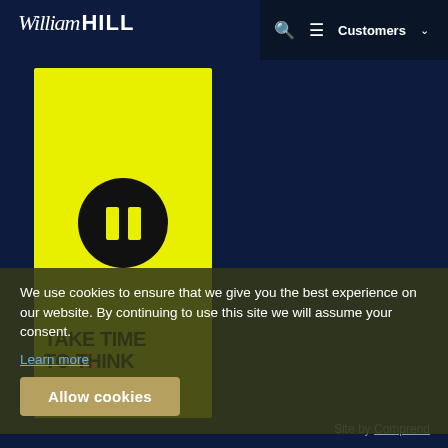[Figure (logo): William Hill logo with italic script 'William' and bold 'HILL' in white on dark navy background]
[Figure (illustration): Yellow promotional image with pause button circle and text 'TAKE TIME TO THINK' with BeGambleAware logo at bottom]
We use cookies to ensure that we give you the best experience on our website. By continuing to use this site we will assume your consent.
Learn more
Allow cookies
Site by Comprend